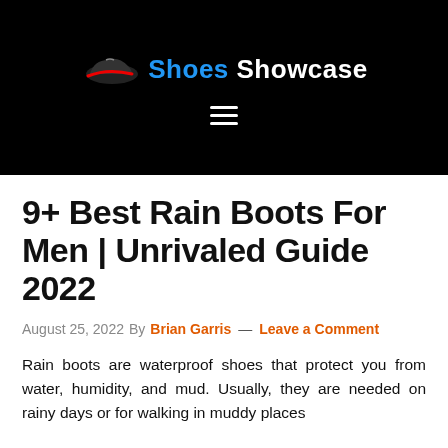Shoes Showcase
9+ Best Rain Boots For Men | Unrivaled Guide 2022
August 25, 2022 By Brian Garris — Leave a Comment
Rain boots are waterproof shoes that protect you from water, humidity, and mud. Usually, they are needed on rainy days or for walking in muddy places